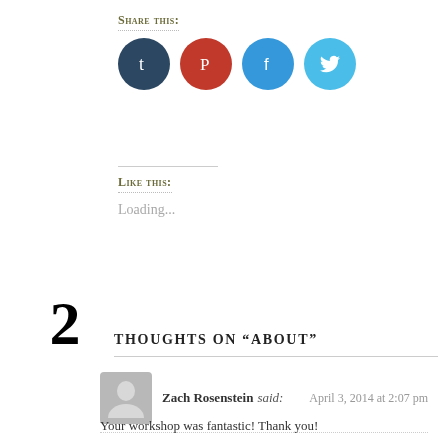Share this:
[Figure (other): Four social media icon buttons: Tumblr (dark blue), Pinterest (red), Facebook (blue), Twitter (light blue)]
Like this:
Loading...
2 THOUGHTS ON “ABOUT”
Zach Rosenstein said: April 3, 2014 at 2:07 pm
Your workshop was fantastic! Thank you!